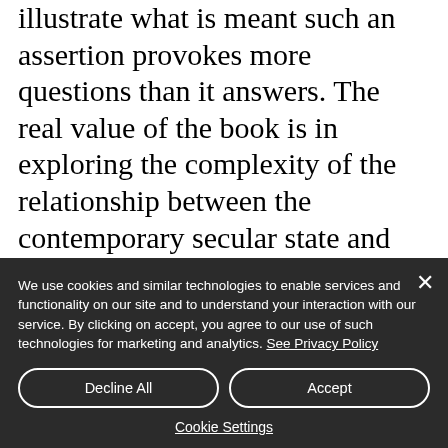illustrate what is meant such an assertion provokes more questions than it answers. The real value of the book is in exploring the complexity of the relationship between the contemporary secular state and the church. In endorsing the secular state, does the post Vatican II church wish to relinquish its role in the public square? But if she is not to
We use cookies and similar technologies to enable services and functionality on our site and to understand your interaction with our service. By clicking on accept, you agree to our use of such technologies for marketing and analytics. See Privacy Policy
Decline All
Accept
Cookie Settings